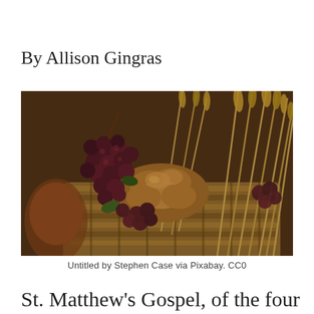By Allison Gingras
[Figure (photo): A wicker basket filled with decorative bread, clusters of dark red grapes, and dried wheat stalks arranged as a harvest or Eucharistic still-life composition.]
Untitled by Stephen Case via Pixabay. CC0
St. Matthew's Gospel, of the four